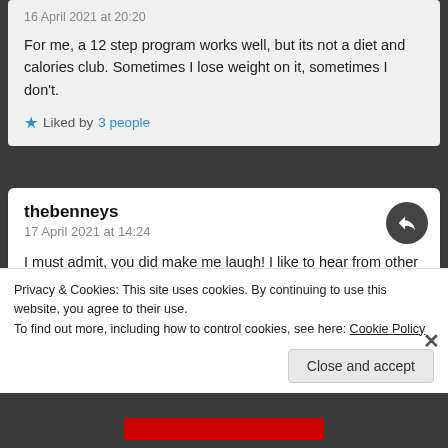16 April 2021 at 20:20
For me, a 12 step program works well, but its not a diet and calories club. Sometimes I lose weight on it, sometimes I don't.
Liked by 3 people
thebenneys
17 April 2021 at 14:24
I must admit, you did make me laugh! I like to hear from other perspectives and it sounds like you are
Privacy & Cookies: This site uses cookies. By continuing to use this website, you agree to their use.
To find out more, including how to control cookies, see here: Cookie Policy
Close and accept